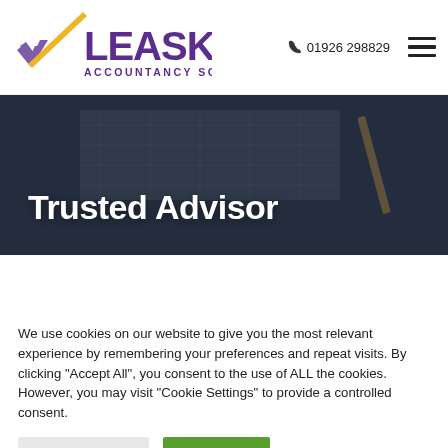[Figure (logo): Leask Accountancy Solutions logo with purple and gold checkmark icon and purple text]
📞 01926 298829
Trusted Advisor
We use cookies on our website to give you the most relevant experience by remembering your preferences and repeat visits. By clicking "Accept All", you consent to the use of ALL the cookies. However, you may visit "Cookie Settings" to provide a controlled consent.
Cookie Settings
Accept All